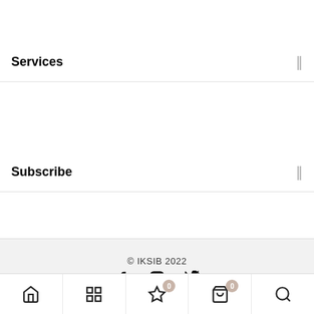Services
Subscribe
© IKSIB 2022
[Figure (other): Bottom navigation bar with home, grid, star (with badge 0), shopping bag (with badge 0), and search icons]